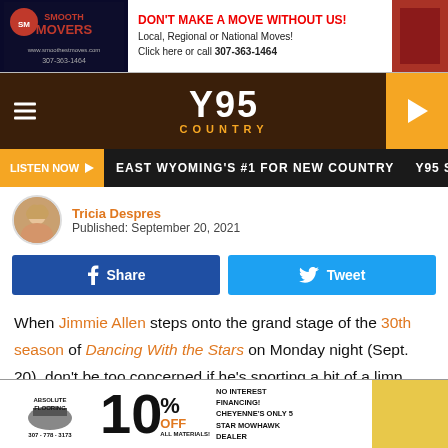[Figure (other): Smooth Movers advertisement banner with logo and text 'DON'T MAKE A MOVE WITHOUT US! Local, Regional or National Moves! Click here or call 307-363-1464']
[Figure (logo): Y95 Country radio station header logo with hamburger menu and play button]
[Figure (other): Listen Now button bar with text 'EAST WYOMING'S #1 FOR NEW COUNTRY Y95 SO']
[Figure (photo): Author avatar photo of Tricia Despres]
Tricia Despres
Published: September 20, 2021
[Figure (other): Facebook Share button and Twitter Tweet button]
When Jimmie Allen steps onto the grand stage of the 30th season of Dancing With the Stars on Monday night (Sept. 20), don't be too concerned if he's sporting a bit of a limp.
“My leg was hurting for a little bit,” the reigning ACM New
[Figure (other): Absolute Flooring advertisement: 10% OFF ALL MATERIALS! No Interest Financing! Cheyenne's Only 5 Star Mowhawk Dealer]